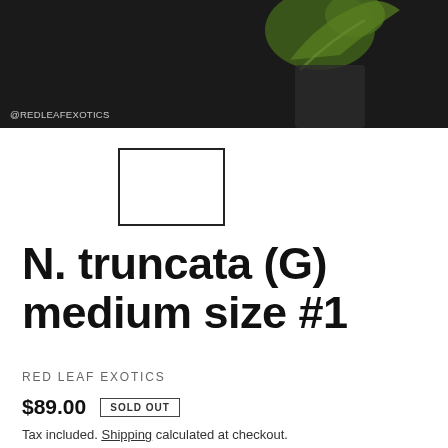[Figure (photo): Close-up photo of a Nepenthes truncata plant against a dark background, with @REDLEAFEXOTICS watermark in the bottom left]
[Figure (photo): Small thumbnail image of the product, shown as a white rectangle placeholder]
N. truncata (G) medium size #1
RED LEAF EXOTICS
$89.00   SOLD OUT
Tax included. Shipping calculated at checkout.
Quantity